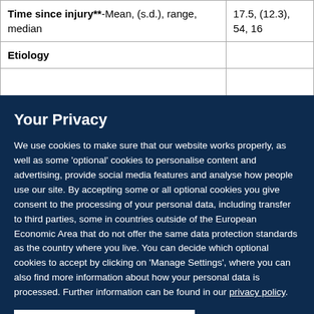|  |  |
| --- | --- |
| Time since injury**-Mean, (s.d.), range, median | 17.5, (12.3), 54, 16 |
| Etiology |  |
|  |  |
Your Privacy
We use cookies to make sure that our website works properly, as well as some ‘optional’ cookies to personalise content and advertising, provide social media features and analyse how people use our site. By accepting some or all optional cookies you give consent to the processing of your personal data, including transfer to third parties, some in countries outside of the European Economic Area that do not offer the same data protection standards as the country where you live. You can decide which optional cookies to accept by clicking on ‘Manage Settings’, where you can also find more information about how your personal data is processed. Further information can be found in our privacy policy.
Accept all cookies
Manage preferences